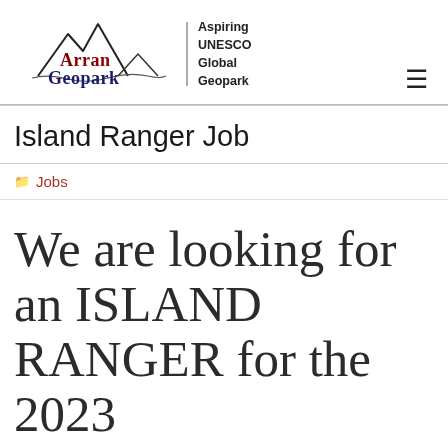[Figure (logo): Arran Geopark logo with mountain silhouette, text 'Arran Geopark' in dark red and dark blue, and 'Aspiring UNESCO Global Geopark' text to the right of a vertical divider line]
≡
Island Ranger Job
Jobs
We are looking for an ISLAND RANGER for the 2023 season!